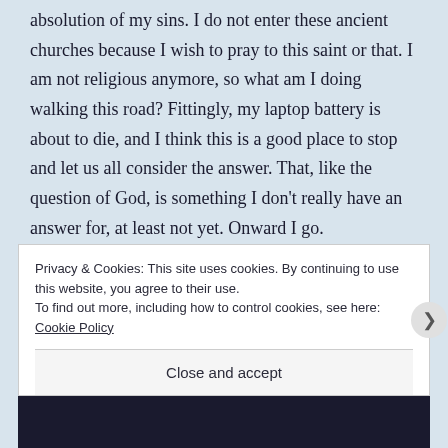absolution of my sins. I do not enter these ancient churches because I wish to pray to this saint or that. I am not religious anymore, so what am I doing walking this road? Fittingly, my laptop battery is about to die, and I think this is a good place to stop and let us all consider the answer. That, like the question of God, is something I don't really have an answer for, at least not yet. Onward I go.
Privacy & Cookies: This site uses cookies. By continuing to use this website, you agree to their use.
To find out more, including how to control cookies, see here: Cookie Policy
Close and accept